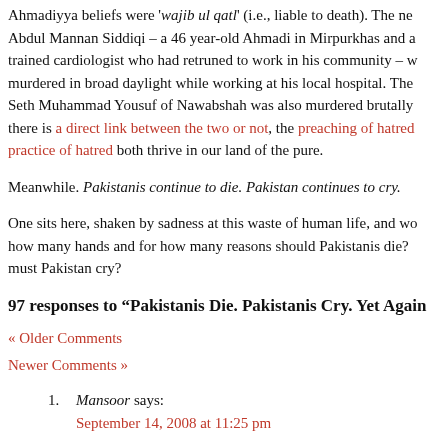Ahmadiyya beliefs were 'wajib ul qatl' (i.e., liable to death). The ne Abdul Mannan Siddiqi – a 46 year-old Ahmadi in Mirpurkhas and a trained cardiologist who had retruned to work in his community – w murdered in broad daylight while working at his local hospital. The Seth Muhammad Yousuf of Nawabshah was also murdered brutally there is a direct link between the two or not, the preaching of hatred practice of hatred both thrive in our land of the pure.
Meanwhile. Pakistanis continue to die. Pakistan continues to cry.
One sits here, shaken by sadness at this waste of human life, and wo how many hands and for how many reasons should Pakistanis die? must Pakistan cry?
97 responses to “Pakistanis Die. Pakistanis Cry. Yet Again”
« Older Comments
Newer Comments »
1. Mansoor says:
September 14, 2008 at 11:25 pm